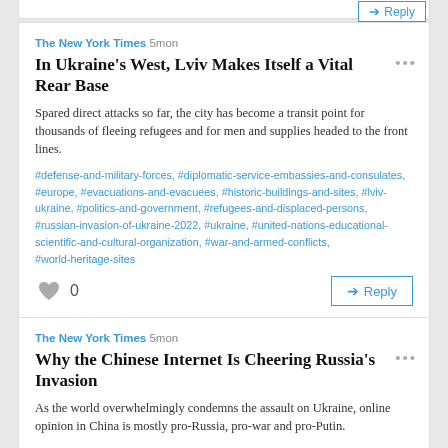Reply (top partial button)
The New York Times 5mon
In Ukraine's West, Lviv Makes Itself a Vital Rear Base
Spared direct attacks so far, the city has become a transit point for thousands of fleeing refugees and for men and supplies headed to the front lines.
#defense-and-military-forces, #diplomatic-service-embassies-and-consulates, #europe, #evacuations-and-evacuees, #historic-buildings-and-sites, #lviv-ukraine, #politics-and-government, #refugees-and-displaced-persons, #russian-invasion-of-ukraine-2022, #ukraine, #united-nations-educational-scientific-and-cultural-organization, #war-and-armed-conflicts, #world-heritage-sites
0 Reply
The New York Times 5mon
Why the Chinese Internet Is Cheering Russia's Invasion
As the world overwhelmingly condemns the assault on Ukraine, online opinion in China is mostly pro-Russia, pro-war and pro-Putin.
#defense-and-military-forces, #diplomatic-service-embassies-and-consulates, #politics-and-government, #putin-vladimir-v, #russian-invasion-of-ukraine-2022, #social-media, #united-states-international-relations